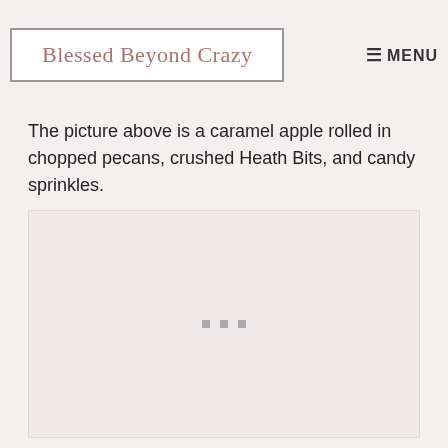Blessed Beyond Crazy  MENU
The picture above is a caramel apple rolled in chopped pecans, crushed Heath Bits, and candy sprinkles.
[Figure (other): Empty image placeholder area with three small gray square dots centered, representing an ad or image loading area]